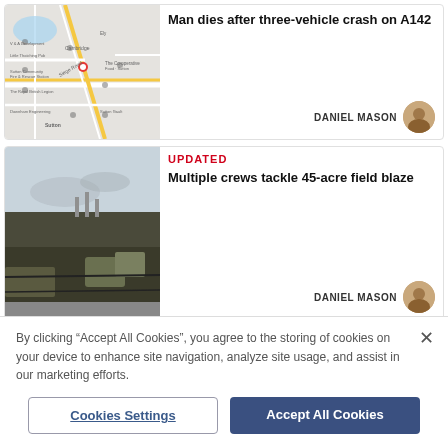[Figure (map): Google Maps screenshot showing a road map with a red location pin on a road, with various points of interest labeled including Sutton area]
Man dies after three-vehicle crash on A142
DANIEL MASON
[Figure (photo): Photo of a burned field with charred ground and scrub vegetation, sky visible in background]
UPDATED
Multiple crews tackle 45-acre field blaze
DANIEL MASON
By clicking “Accept All Cookies”, you agree to the storing of cookies on your device to enhance site navigation, analyze site usage, and assist in our marketing efforts.
Cookies Settings
Accept All Cookies